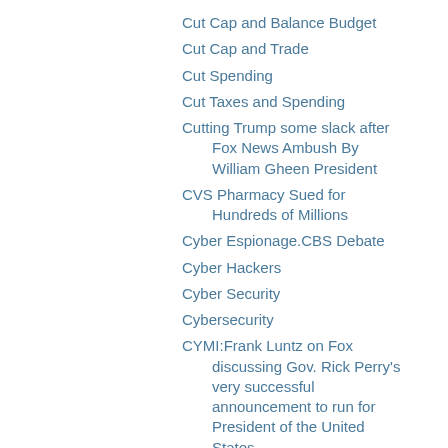Cut Cap and Balance Budget
Cut Cap and Trade
Cut Spending
Cut Taxes and Spending
Cutting Trump some slack after Fox News Ambush By William Gheen President
CVS Pharmacy Sued for Hundreds of Millions
Cyber Espionage.CBS Debate
Cyber Hackers
Cyber Security
Cybersecurity
CYMI:Frank Luntz on Fox discussing Gov. Rick Perry's very successful announcement to run for President of the United States.
Czar'a
Czar's